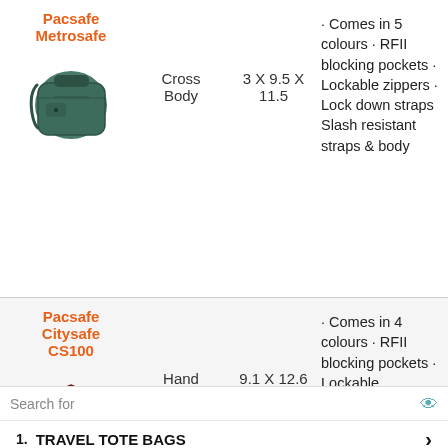Pacsafe Metrosafe
[Figure (photo): Green/teal Pacsafe Metrosafe cross body bag]
Cross Body
3 X 9.5 X 11.5
· Comes in 5 colours · RFID blocking pockets · Lockable zippers · Lock down straps Slash resistant straps & body
Pacsafe Citysafe CS100
[Figure (photo): Red/maroon Pacsafe Citysafe CS100 hand bag]
Hand Bag/Cross Body
9.1 X 12.6 X 3.1
· Comes in 4 colours · RFID blocking pockets · Lockable
Search for
1. TRAVEL TOTE BAGS
2. FREE BAG PATTERNS
Ad | Business Focus